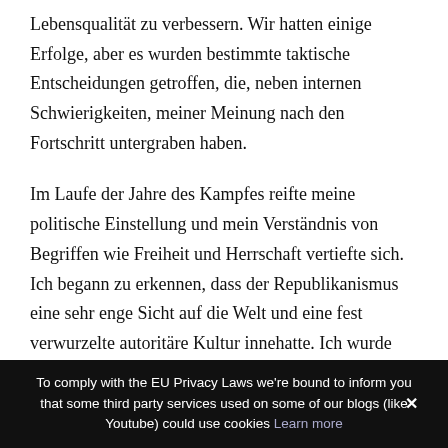Lebensqualität zu verbessern. Wir hatten einige Erfolge, aber es wurden bestimmte taktische Entscheidungen getroffen, die, neben internen Schwierigkeiten, meiner Meinung nach den Fortschritt untergraben haben.
Im Laufe der Jahre des Kampfes reifte meine politische Einstellung und mein Verständnis von Begriffen wie Freiheit und Herrschaft vertiefte sich. Ich begann zu erkennen, dass der Republikanismus eine sehr enge Sicht auf die Welt und eine fest verwurzelte autoritäre Kultur innehatte. Ich wurde davon überzeugt, dass jeder unabhängige irische Staat, ob sozialistisch oder nicht, genauso schädlich wäre wie der britische Staat.
To comply with the EU Privacy Laws we're bound to inform you that some third party services used on some of our blogs (like Youtube) could use cookies Learn more